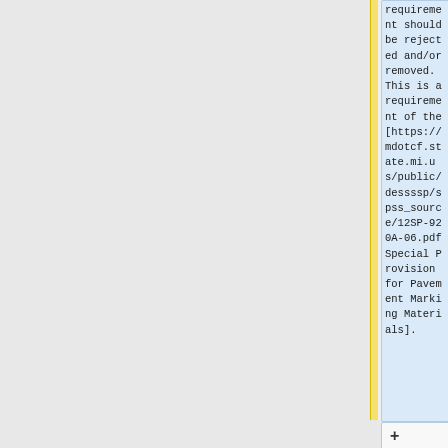requirement should be rejected and/or removed. This is a requirement of the [https://mdotcf.state.mi.us/public/dessssp/spss_source/12SP-920A-06.pdf Special Provision for Pavement Marking Materials].